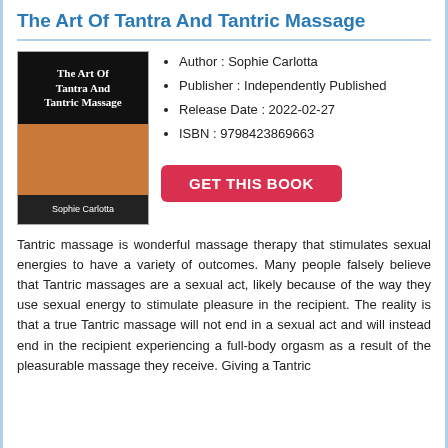The Art Of Tantra And Tantric Massage
[Figure (illustration): Book cover for 'The Art Of Tantra And Tantric Massage' by Sophie Carlotta, showing hands giving a massage on a dark/orange background with text overlay.]
Author : Sophie Carlotta
Publisher : Independently Published
Release Date : 2022-02-27
ISBN : 9798423869663
GET THIS BOOK
Tantric massage is wonderful massage therapy that stimulates sexual energies to have a variety of outcomes. Many people falsely believe that Tantric massages are a sexual act, likely because of the way they use sexual energy to stimulate pleasure in the recipient. The reality is that a true Tantric massage will not end in a sexual act and will instead end in the recipient experiencing a full-body orgasm as a result of the pleasurable massage they receive. Giving a Tantric